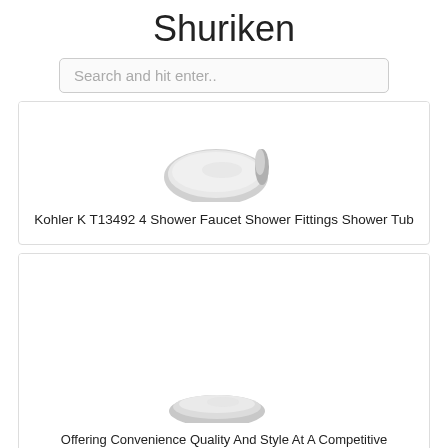Shuriken
Search and hit enter..
[Figure (photo): Partial view of a chrome/silver shower faucet fitting against white background]
Kohler K T13492 4 Shower Faucet Shower Fittings Shower Tub
[Figure (photo): Partial view of a chrome/silver shower faucet or fitting, mostly cropped, white background]
Offering Convenience Quality And Style At A Competitive